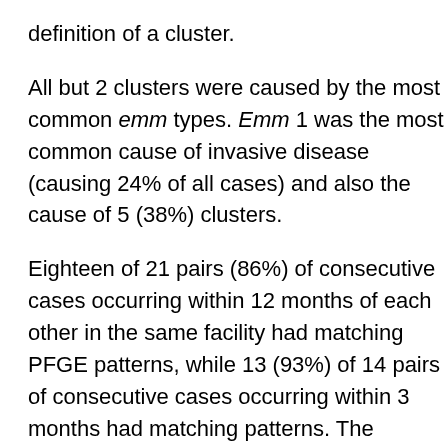definition of a cluster.
All but 2 clusters were caused by the most common emm types. Emm 1 was the most common cause of invasive disease (causing 24% of all cases) and also the cause of 5 (38%) clusters.
Eighteen of 21 pairs (86%) of consecutive cases occurring within 12 months of each other in the same facility had matching PFGE patterns, while 13 (93%) of 14 pairs of consecutive cases occurring within 3 months had matching patterns. The occurrence of a third case in a nursing home was not dependent on the first 2 case isolates having the same PFGE patterns; 6 (46%) of 13 facilities in which the first 2 case isolates had different PFGE patterns and 5 (45%) of 11 facilities in which the first 2 case isolates had matching PFGE patterns subsequently had more